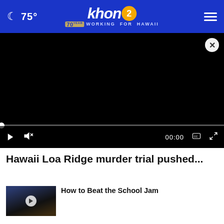75° khon2 WORKING FOR HAWAII
[Figure (screenshot): Black video player area with close button, progress bar, and playback controls showing 00:00]
Hawaii Loa Ridge murder trial pushed...
[Figure (screenshot): Thumbnail for related video story]
How to Beat the School Jam